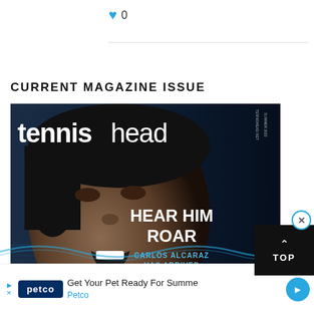♥ 0
CURRENT MAGAZINE ISSUE
[Figure (photo): Cover of Tennishead magazine featuring Carlos Alcaraz with text 'HEAR HIM ROAR – CARLOS ALCARAZ HAS ARRIVED' on a dark blue background]
[Figure (infographic): Ad bar for Petco: 'Get Your Pet Ready For Summer – Petco' with Petco logo, navigation arrows, and an X close button]